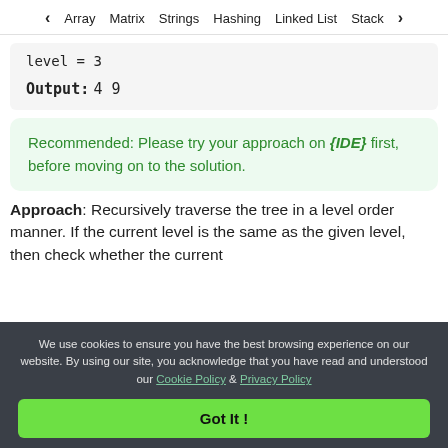< Array   Matrix   Strings   Hashing   Linked List   Stack >
level = 3
Output: 4 9
Recommended: Please try your approach on {IDE} first, before moving on to the solution.
Approach: Recursively traverse the tree in a level order manner. If the current level is the same as the given level, then check whether the current
We use cookies to ensure you have the best browsing experience on our website. By using our site, you acknowledge that you have read and understood our Cookie Policy & Privacy Policy
Got It !